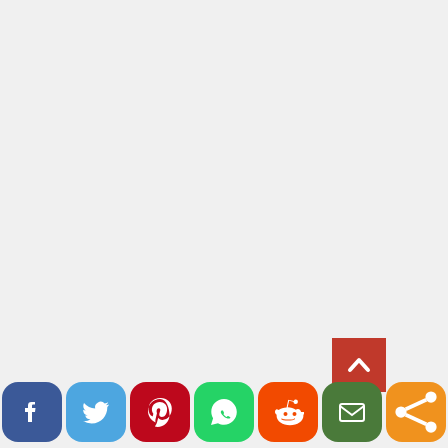[Figure (infographic): Social media sharing bar at the bottom of a webpage with icons for Facebook (dark blue rounded rectangle), Twitter (light blue rounded rectangle), Pinterest (dark red rounded rectangle), WhatsApp (green rounded rectangle), Reddit (orange rounded rectangle), Email/Mail (dark green rounded rectangle), and a Share button (orange rounded rectangle). Above the share button is a red bookmark/back-to-top button with a white chevron up arrow. The top portion of the page is blank light gray.]